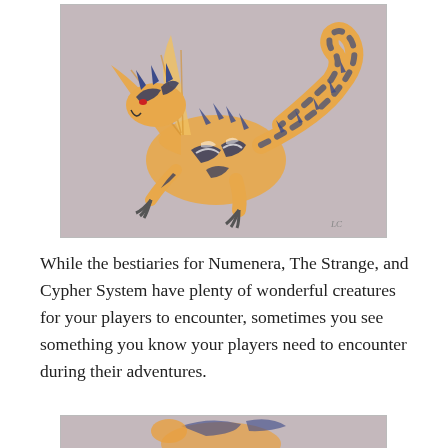[Figure (illustration): Fantasy dragon creature illustration with blue, white, orange/gold coloring. The dragon has spiky features, a curled tail, large wings with orange/golden hues, and blue-black swirling patterns across its body. Set against a muted mauve-gray background. Artist signature visible in lower right corner.]
While the bestiaries for Numenera, The Strange, and Cypher System have plenty of wonderful creatures for your players to encounter, sometimes you see something you know your players need to encounter during their adventures.
[Figure (illustration): Partial view of another fantasy creature illustration, partially cut off at the bottom of the page. Similar muted background color.]